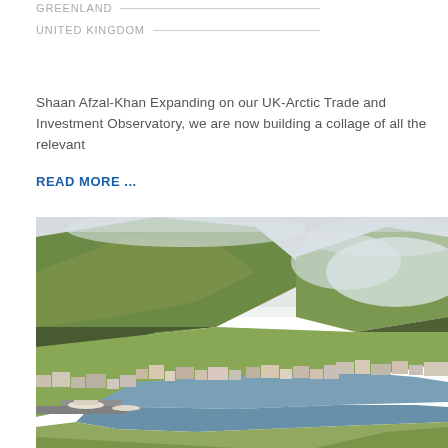GREENLAND
UNITED KINGDOM
Shaan Afzal-Khan Expanding on our UK-Arctic Trade and Investment Observatory, we are now building a collage of all the relevant
READ MORE ...
[Figure (photo): Aerial view of a coastal Nordic town nestled between green mountains with low clouds, featuring a harbour with boats, dense housing, and lush green hillsides in the background.]